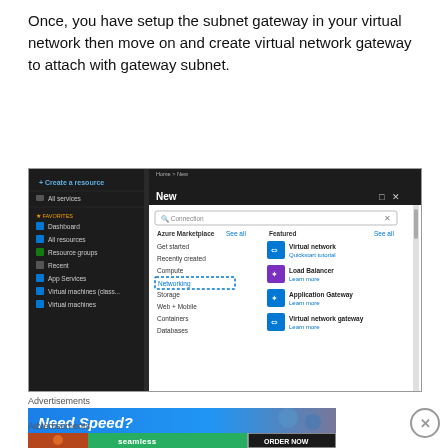Once, you have setup the subnet gateway in your virtual network then move on and create virtual network gateway to attach with gateway subnet.
[Figure (screenshot): Azure portal screenshot showing the 'New' panel with Azure Marketplace and Featured categories. Left sidebar shows navigation items. The Networking category is highlighted with a dashed blue border. Featured items include Virtual network, Load Balancer, Application Gateway, and Virtual network gateway.]
Advertisements
[Figure (screenshot): Advertisement banner showing 'Need Speed?' in white bold italic text on a blue gradient background.]
Advertisements
[Figure (screenshot): Seamless food delivery advertisement showing pizza image, seamless logo, and ORDER NOW button on dark background.]